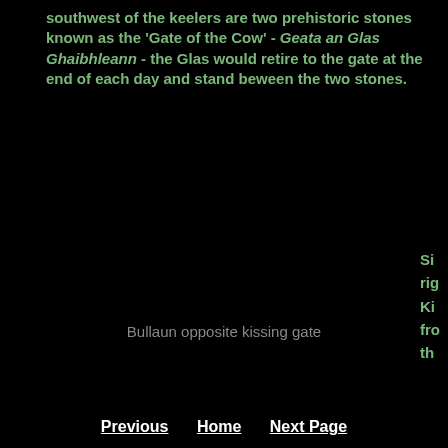southwest of the keelers are two prehistoric stones known as the 'Gate of the Cow' - Geata an Glas Ghaibhleann - the Glas would retire to the gate at the end of each day and stand beween the two stones.
Si... rig... Ki... fro... th...
Di...
Lo...
La...
Go...
Ph...
Bullaun opposite kissing gate
Previous   Home   Next Page